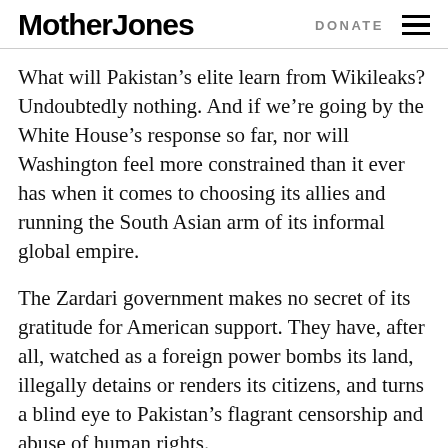Mother Jones  DONATE
What will Pakistan’s elite learn from Wikileaks? Undoubtedly nothing. And if we’re going by the White House’s response so far, nor will Washington feel more constrained than it ever has when it comes to choosing its allies and running the South Asian arm of its informal global empire.
The Zardari government makes no secret of its gratitude for American support. They have, after all, watched as a foreign power bombs its land, illegally detains or renders its citizens, and turns a blind eye to Pakistan’s flagrant censorship and abuse of human rights.
This obeisance to power is the key to Zardari’s